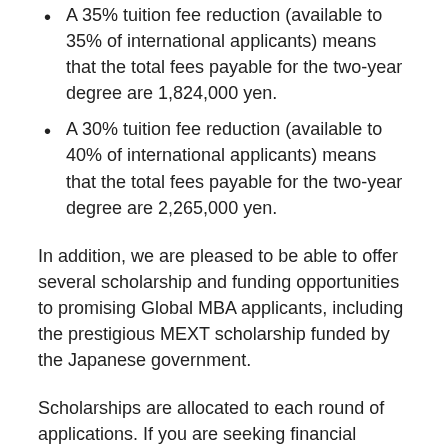A 35% tuition fee reduction (available to 35% of international applicants) means that the total fees payable for the two-year degree are 1,824,000 yen.
A 30% tuition fee reduction (available to 40% of international applicants) means that the total fees payable for the two-year degree are 2,265,000 yen.
In addition, we are pleased to be able to offer several scholarship and funding opportunities to promising Global MBA applicants, including the prestigious MEXT scholarship funded by the Japanese government.
Scholarships are allocated to each round of applications. If you are seeking financial support we advise you to apply early, as some funding opportunities may not be available later in the application period.
Assessment and selection is based on past academic